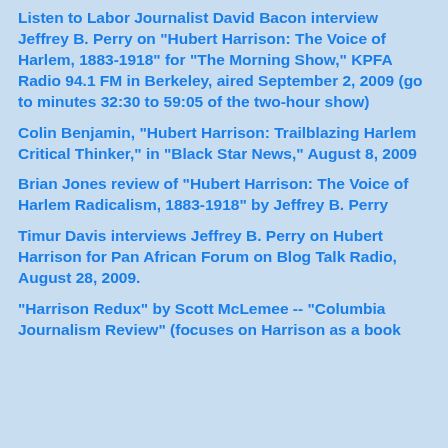Listen to Labor Journalist David Bacon interview Jeffrey B. Perry on "Hubert Harrison: The Voice of Harlem, 1883-1918" for "The Morning Show," KPFA Radio 94.1 FM in Berkeley, aired September 2, 2009 (go to minutes 32:30 to 59:05 of the two-hour show)
Colin Benjamin, "Hubert Harrison: Trailblazing Harlem Critical Thinker," in "Black Star News," August 8, 2009
Brian Jones review of "Hubert Harrison: The Voice of Harlem Radicalism, 1883-1918" by Jeffrey B. Perry
Timur Davis interviews Jeffrey B. Perry on Hubert Harrison for Pan African Forum on Blog Talk Radio, August 28, 2009.
"Harrison Redux" by Scott McLemee -- "Columbia Journalism Review" (focuses on Harrison as a book